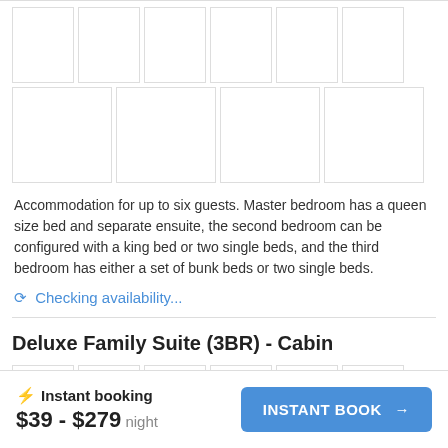[Figure (photo): Grid of 6 room/accommodation photo thumbnails (row 1)]
[Figure (photo): Grid of 4 room/accommodation photo thumbnails (row 2)]
Accommodation for up to six guests. Master bedroom has a queen size bed and separate ensuite, the second bedroom can be configured with a king bed or two single beds, and the third bedroom has either a set of bunk beds or two single beds.
⟳ Checking availability...
Deluxe Family Suite (3BR) - Cabin
[Figure (photo): Grid of 6 cabin room photo thumbnails (row 1)]
[Figure (photo): Grid of 5 cabin room photo thumbnails (row 2, partial)]
⚡ Instant booking
$39 - $279 night
INSTANT BOOK →